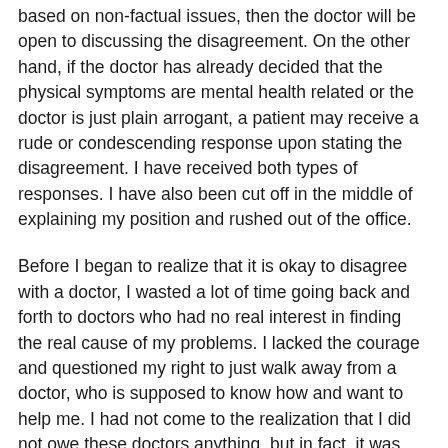based on non-factual issues, then the doctor will be open to discussing the disagreement. On the other hand, if the doctor has already decided that the physical symptoms are mental health related or the doctor is just plain arrogant, a patient may receive a rude or condescending response upon stating the disagreement. I have received both types of responses. I have also been cut off in the middle of explaining my position and rushed out of the office.
Before I began to realize that it is okay to disagree with a doctor, I wasted a lot of time going back and forth to doctors who had no real interest in finding the real cause of my problems. I lacked the courage and questioned my right to just walk away from a doctor, who is supposed to know how and want to help me. I had not come to the realization that I did not owe these doctors anything, but in fact, it was they who owed me something. I was a customer seeking out a service. I am a paying customer who should expect to receive the appropriate service that I am paying for. Once I realized this, seeing a doctor is not any different than hiring an electrician, plumber, or hair stylist. They provide a service that the customer pays for, and if they do not perform to the